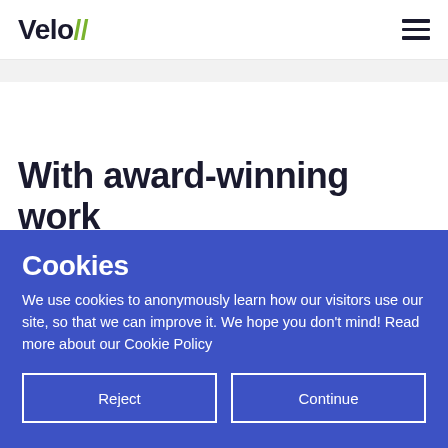Velo//
With award-winning work
Cookies
We use cookies to anonymously learn how our visitors use our site, so that we can improve it. We hope you don't mind! Read more about our Cookie Policy
Reject
Continue